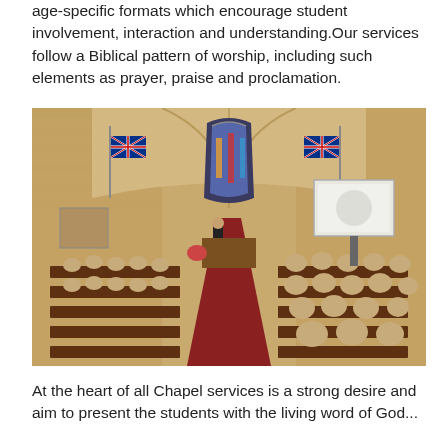age-specific formats which encourage student involvement, interaction and understanding.Our services follow a Biblical pattern of worship, including such elements as prayer, praise and proclamation.
[Figure (photo): Interior of a stone chapel with arched ceiling, stained glass window, Australian and British flags, a projection screen showing a school crest, and students in uniform seated in wooden pews facing the altar where a speaker stands.]
At the heart of all Chapel services is a strong desire and aim to present the students with the living word of God...